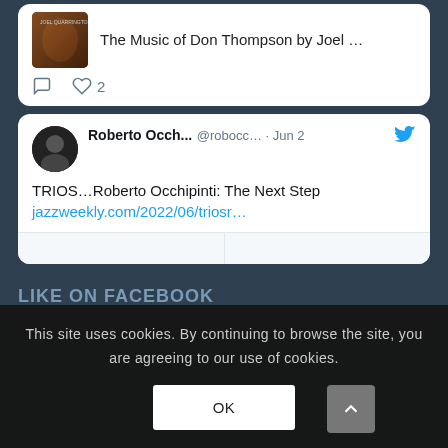[Figure (screenshot): Tweet card showing album: The Music of Don Thompson by Joel ... with a heart count of 2]
[Figure (screenshot): Tweet by Roberto Occh... @robocc... Jun 2 with Twitter bird icon: TRIOS...Roberto Occhipinti: The Next Step jazzweekly.com/2022/06/triosr...]
LIKE ON FACEBOOK
This site uses cookies. By continuing to browse the site, you are agreeing to our use of cookies.
OK